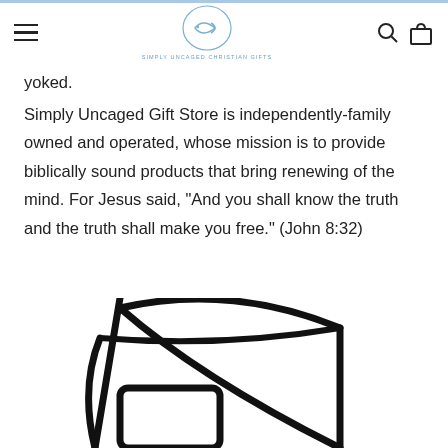[Figure (logo): Simply Uncaged Christian Gifts logo — fish symbol inside a circle with text below]
yoked.
Simply Uncaged Gift Store is independently-family owned and operated, whose mission is to provide biblically sound products that bring renewing of the mind. For Jesus said, "And you shall know the truth and the truth shall make you free." (John 8:32)
[Figure (illustration): Partial black line-drawing illustration of a bag or chair at the bottom of the page]